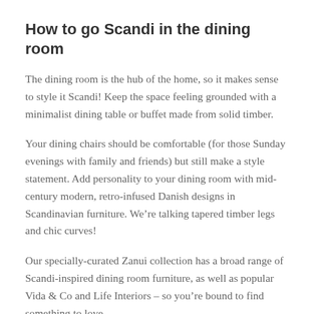How to go Scandi in the dining room
The dining room is the hub of the home, so it makes sense to style it Scandi! Keep the space feeling grounded with a minimalist dining table or buffet made from solid timber.
Your dining chairs should be comfortable (for those Sunday evenings with family and friends) but still make a style statement. Add personality to your dining room with mid-century modern, retro-infused Danish designs in Scandinavian furniture. We're talking tapered timber legs and chic curves!
Our specially-curated Zanui collection has a broad range of Scandi-inspired dining room furniture, as well as popular Vida & Co and Life Interiors – so you're bound to find something to love.
Function meets form with Scandinavian storage